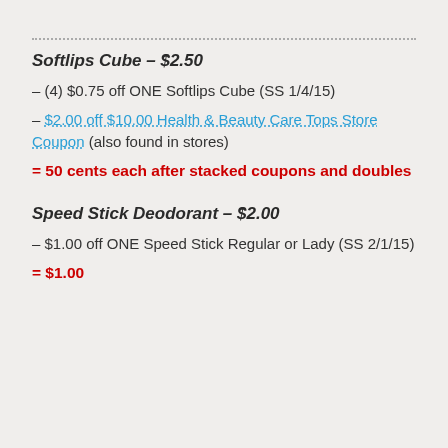Softlips Cube – $2.50
– (4) $0.75 off ONE Softlips Cube (SS 1/4/15)
– $2.00 off $10.00 Health & Beauty Care Tops Store Coupon (also found in stores)
= 50 cents each after stacked coupons and doubles
Speed Stick Deodorant – $2.00
– $1.00 off ONE Speed Stick Regular or Lady (SS 2/1/15)
= $1.00